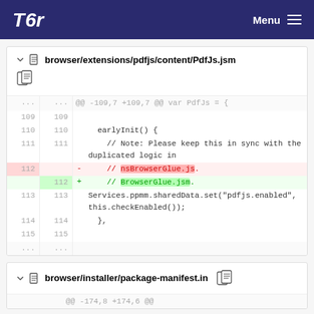Tor  Menu
browser/extensions/pdfjs/content/PdfJs.jsm
[Figure (screenshot): Code diff showing changes to browser/extensions/pdfjs/content/PdfJs.jsm. Lines 109-115 shown. Line 112 removed: '// nsBrowserGlue.js.' and added: '// BrowserGlue.jsm.']
browser/installer/package-manifest.in
@@ -174,8 +174,6 @@